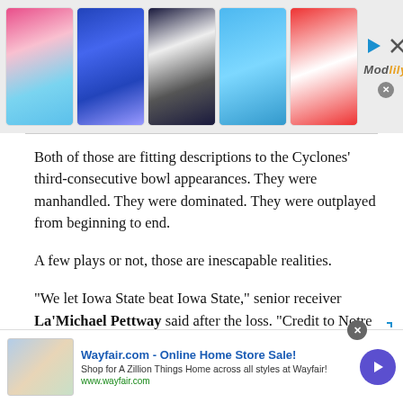[Figure (photo): Top advertisement banner showing five fashion model thumbnails and Modlily logo with play and close icons]
Both of those are fitting descriptions to the Cyclones' third-consecutive bowl appearances. They were manhandled. They were dominated. They were outplayed from beginning to end.
A few plays or not, those are inescapable realities.
“We let Iowa State beat Iowa State,” senior receiver La'Michael Pettway said after the loss. “Credit to Notre Dame and their defense, but, at the end of the day, Iowa State beat Iowa State.”
[Figure (screenshot): Bottom advertisement banner for Wayfair.com - Online Home Store Sale with home decor image, text, URL, and navigation button]